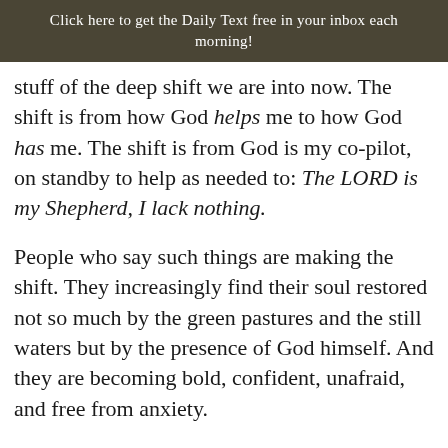Click here to get the Daily Text free in your inbox each morning!
stuff of the deep shift we are into now. The shift is from how God helps me to how God has me. The shift is from God is my co-pilot, on standby to help as needed to: The LORD is my Shepherd, I lack nothing.
People who say such things are making the shift. They increasingly find their soul restored not so much by the green pastures and the still waters but by the presence of God himself. And they are becoming bold, confident, unafraid, and free from anxiety.
THE PRAYER